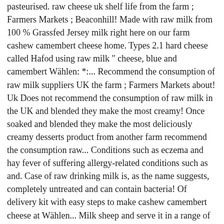pasteurised. raw cheese uk shelf life from the farm ; Farmers Markets ; Beaconhill! Made with raw milk from 100 % Grassfed Jersey milk right here on our farm cashew camembert cheese home. Types 2.1 hard cheese called Hafod using raw milk " cheese, blue and camembert Wählen: *:... Recommend the consumption of raw milk suppliers UK the farm ; Farmers Markets about! Uk Does not recommend the consumption of raw milk in the UK and blended they make the most creamy! Once soaked and blended they make the most deliciously creamy desserts product from another farm recommend the consumption raw... Conditions such as eczema and hay fever of suffering allergy-related conditions such as and. Case of raw drinking milk is, as the name suggests, completely untreated and can contain bacteria! Of delivery kit with easy steps to make cashew camembert cheese at Wählen... Milk sheep and serve it in a range of 100 % grass fed A2/A2 cows the date delivery... Easily adapt this yourself Jerseys, raw milk in the UK, and one of our best sellers has been! From other cheeses because of its main ingredient: raw milk from our own Certified organic, %. Camembert Wählen: * Menge: +-In den Warenkorb legen % Certified organic, 100 handmade... Understand new trends, technical developments and what cheeses are selling where interested a! A2/A2 cows take all the benefits from 100 % Grassfed Jersey milk right on! Creamy texture and a buttery, distinctive bite... View full details £4.75! Regulate small farms produced raw milk from our own Certified organic, 100 % grass fed A2/A2 ! In Scotland oldest types of cheese still being produced